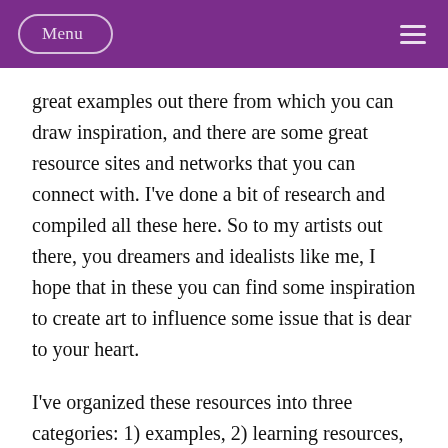Menu
great examples out there from which you can draw inspiration, and there are some great resource sites and networks that you can connect with. I've done a bit of research and compiled all these here. So to my artists out there, you dreamers and idealists like me, I hope that in these you can find some inspiration to create art to influence some issue that is dear to your heart.
I've organized these resources into three categories: 1) examples, 2) learning resources, and 3) networks and activities (as the networks tend to conduct activities). Some are explicitly art for peace or justice, while others may be indirect on a topic like community development or healing from trauma or something like that. A few are academic or